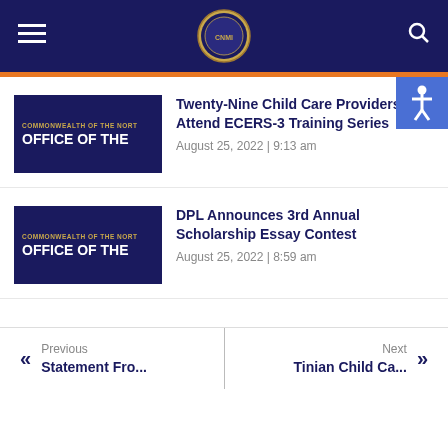[Figure (screenshot): Government website header with dark navy background, hamburger menu icon on left, circular seal/logo in center, search icon on right, orange bar below]
[Figure (logo): Commonwealth of the Northern Mariana Islands Office thumbnail - dark navy box with gold and white text]
Twenty-Nine Child Care Providers Attend ECERS-3 Training Series
August 25, 2022 | 9:13 am
[Figure (logo): Commonwealth of the Northern Mariana Islands Office thumbnail - dark navy box with gold and white text]
DPL Announces 3rd Annual Scholarship Essay Contest
August 25, 2022 | 8:59 am
Previous Statement Fro... | Next Tinian Child Ca...